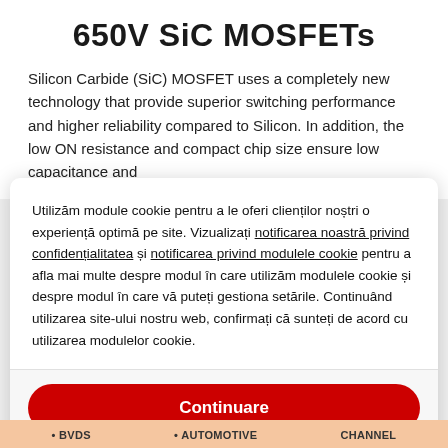650V SiC MOSFETs
Silicon Carbide (SiC) MOSFET uses a completely new technology that provide superior switching performance and higher reliability compared to Silicon. In addition, the low ON resistance and compact chip size ensure low capacitance and
Utilizăm module cookie pentru a le oferi clienților noștri o experiență optimă pe site. Vizualizați notificarea noastră privind confidențialitatea și notificarea privind modulele cookie pentru a afla mai multe despre modul în care utilizăm modulele cookie și despre modul în care vă puteți gestiona setările. Continuând utilizarea site-ului nostru web, confirmați că sunteți de acord cu utilizarea modulelor cookie.
Continuare
Ieșire
Notificare privind confidențialitatea
BVDS    Automotive    Channel